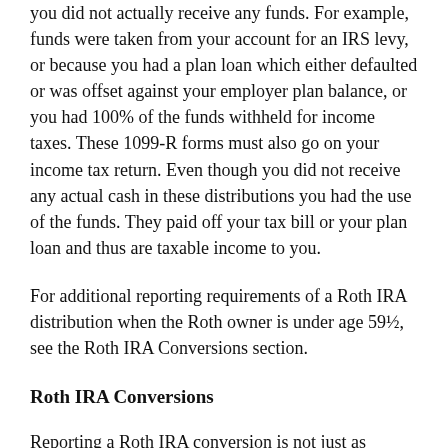you did not actually receive any funds. For example, funds were taken from your account for an IRS levy, or because you had a plan loan which either defaulted or was offset against your employer plan balance, or you had 100% of the funds withheld for income taxes. These 1099-R forms must also go on your income tax return. Even though you did not receive any actual cash in these distributions you had the use of the funds. They paid off your tax bill or your plan loan and thus are taxable income to you.
For additional reporting requirements of a Roth IRA distribution when the Roth owner is under age 59½, see the Roth IRA Conversions section.
Roth IRA Conversions
Reporting a Roth IRA conversion is not just as simple as including the amount on the 1099-R on the tax return. You also have to file Form 8606 to report the